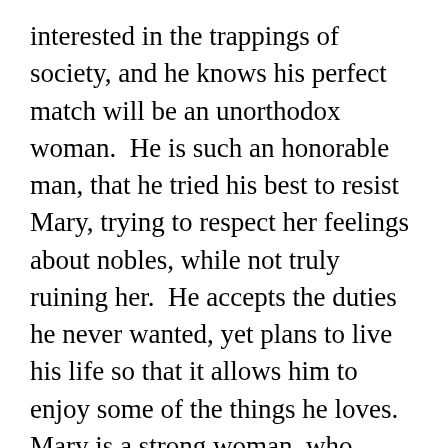interested in the trappings of society, and he knows his perfect match will be an unorthodox woman.  He is such an honorable man, that he tried his best to resist Mary, trying to respect her feelings about nobles, while not truly ruining her.  He accepts the duties he never wanted, yet plans to live his life so that it allows him to enjoy some of the things he loves. Mary is a strong woman, who voluntarily left town so that her sisters would have better opportunities in the marriage mart. Though she was devastated to learn the truth about Caleb, she was also wise enough to understand his reasoning.  There is a sweet fairy-tale like ending, and a wonderful